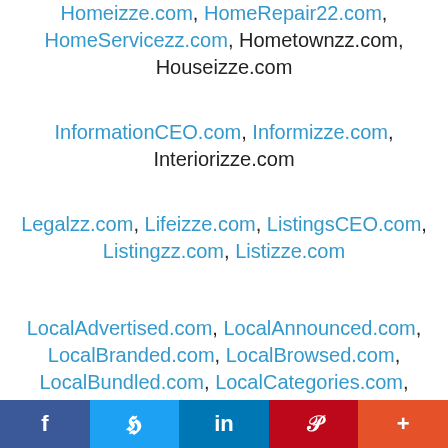Homeizze.com, HomeRepair22.com, HomeServicezz.com, Hometownzz.com, Houseizze.com
InformationCEO.com, Informizze.com, Interiorizze.com
Legalzz.com, Lifeizze.com, ListingsCEO.com, Listingzz.com, Listizze.com
LocalAdvertised.com, LocalAnnounced.com, LocalBranded.com, LocalBrowsed.com, LocalBundled.com, LocalCategories.com, LocalCentralized.com, LocalDigitalized.com, LocalDiscovered.com, LocalDisplayed.com, LocalExplored.com, LocalFeatured.com,
f  |  Twitter bird  |  in  |  Pinterest P  |  +